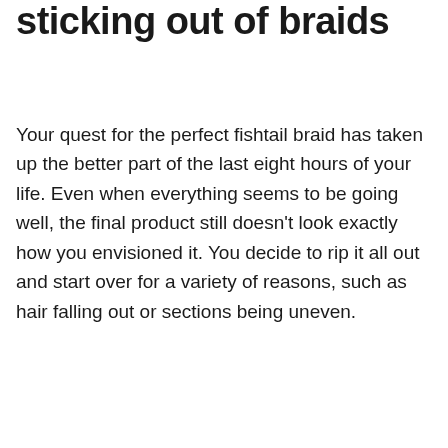sticking out of braids
Your quest for the perfect fishtail braid has taken up the better part of the last eight hours of your life. Even when everything seems to be going well, the final product still doesn't look exactly how you envisioned it. You decide to rip it all out and start over for a variety of reasons, such as hair falling out or sections being uneven.